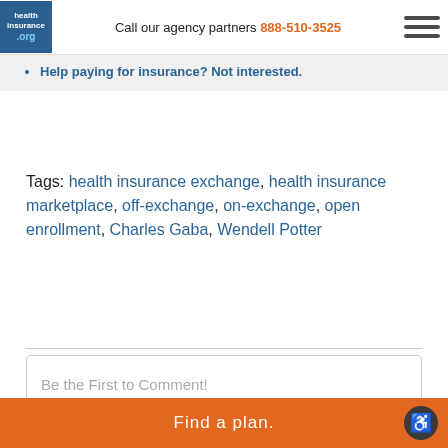Call our agency partners 888-510-3525
Help paying for insurance? Not interested.
Tags: health insurance exchange, health insurance marketplace, off-exchange, on-exchange, open enrollment, Charles Gaba, Wendell Potter
Be the First to Comment!
Find a plan.